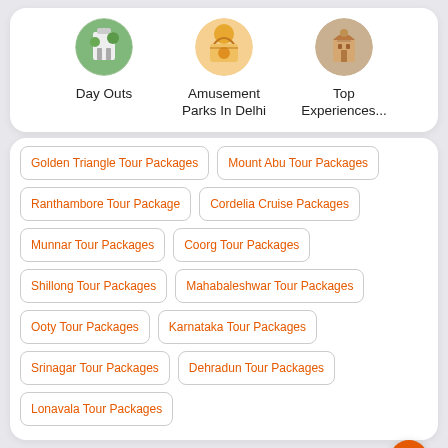[Figure (illustration): Category icons: Day Outs (circular photo of greenery/building), Amusement Parks In Delhi (circular photo of ride/decor), Top Experiences... (circular photo of monument)]
Golden Triangle Tour Packages
Mount Abu Tour Packages
Ranthambore Tour Package
Cordelia Cruise Packages
Munnar Tour Packages
Coorg Tour Packages
Shillong Tour Packages
Mahabaleshwar Tour Packages
Ooty Tour Packages
Karnataka Tour Packages
Srinagar Tour Packages
Dehradun Tour Packages
Lonavala Tour Packages
Best International Packages